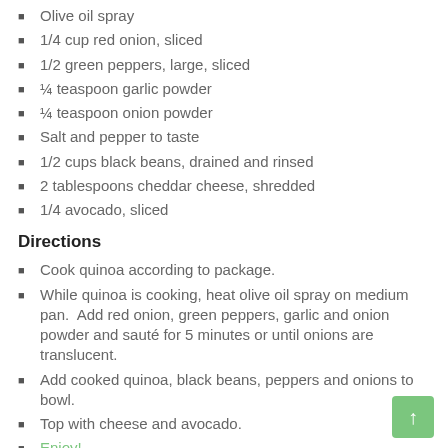Olive oil spray
1/4 cup red onion, sliced
1/2 green peppers, large, sliced
¼ teaspoon garlic powder
¼ teaspoon onion powder
Salt and pepper to taste
1/2 cups black beans, drained and rinsed
2 tablespoons cheddar cheese, shredded
1/4 avocado, sliced
Directions
Cook quinoa according to package.
While quinoa is cooking, heat olive oil spray on medium pan.  Add red onion, green peppers, garlic and onion powder and sauté for 5 minutes or until onions are translucent.
Add cooked quinoa, black beans, peppers and onions to bowl.
Top with cheese and avocado.
Enjoy!